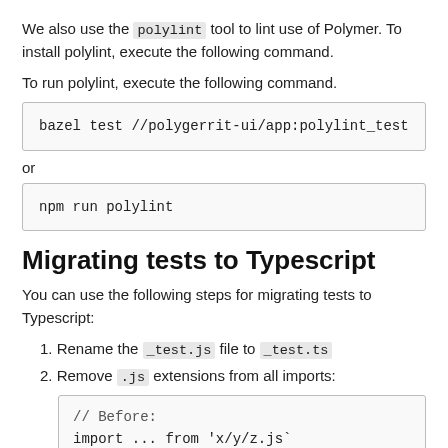We also use the polylint tool to lint use of Polymer. To install polylint, execute the following command.
To run polylint, execute the following command.
bazel test //polygerrit-ui/app:polylint_test
or
npm run polylint
Migrating tests to Typescript
You can use the following steps for migrating tests to Typescript:
1. Rename the _test.js file to _test.ts
2. Remove .js extensions from all imports:
// Before:
import ... from 'x/y/z.js`